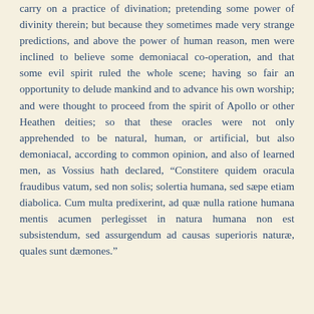carry on a practice of divination; pretending some power of divinity therein; but because they sometimes made very strange predictions, and above the power of human reason, men were inclined to believe some demoniacal co-operation, and that some evil spirit ruled the whole scene; having so fair an opportunity to delude mankind and to advance his own worship; and were thought to proceed from the spirit of Apollo or other Heathen deities; so that these oracles were not only apprehended to be natural, human, or artificial, but also demoniacal, according to common opinion, and also of learned men, as Vossius hath declared, “Constitere quidem oracula fraudibus vatum, sed non solis; solertia humana, sed sæpe etiam diabolica. Cum multa predixerint, ad quæ nulla ratione humana mentis acumen perlegisset in natura humana non est subsistendum, sed assurgendum ad causas superioris naturæ, quales sunt dæmones.”